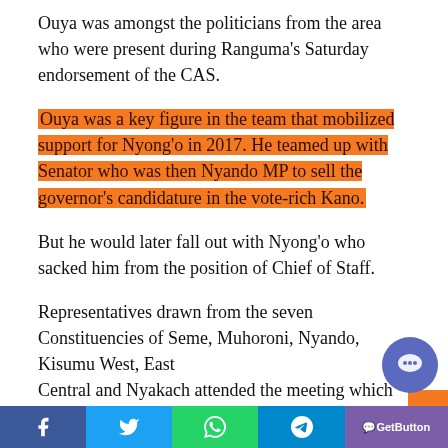Ouya was amongst the politicians from the area who were present during Ranguma's Saturday endorsement of the CAS.
Ouya was a key figure in the team that mobilized support for Nyong'o in 2017. He teamed up with Senator who was then Nyando MP to sell the governor's candidature in the vote-rich Kano.
But he would later fall out with Nyong'o who sacked him from the position of Chief of Staff.
Representatives drawn from the seven Constituencies of Seme, Muhoroni, Nyando, Kisumu West, East, Central and Nyakach attended the meeting which
Facebook | Twitter | WhatsApp | Telegram | GetButton